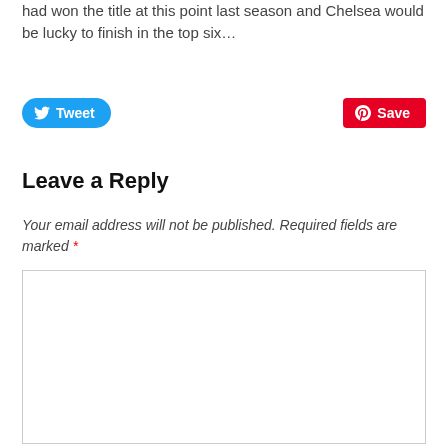had won the title at this point last season and Chelsea would be lucky to finish in the top six…
[Figure (other): Tweet button (blue rounded) and Save button (red rounded rectangle with Pinterest logo)]
Leave a Reply
Your email address will not be published. Required fields are marked *